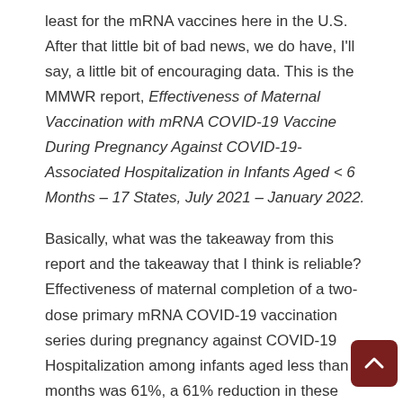least for the mRNA vaccines here in the U.S. After that little bit of bad news, we do have, I'll say, a little bit of encouraging data. This is the MMWR report, Effectiveness of Maternal Vaccination with mRNA COVID-19 Vaccine During Pregnancy Against COVID-19-Associated Hospitalization in Infants Aged < 6 Months – 17 States, July 2021 – January 2022.
Basically, what was the takeaway from this report and the takeaway that I think is reliable? Effectiveness of maternal completion of a two-dose primary mRNA COVID-19 vaccination series during pregnancy against COVID-19 Hospitalization among infants aged less than six months was 61%, a 61% reduction in these under six ending up in hospital. I think this really goes along with that maternal transfer of protection.
They do acknowledge several, "several," I'm going to say seven limitations. The reason I give the data that I do is